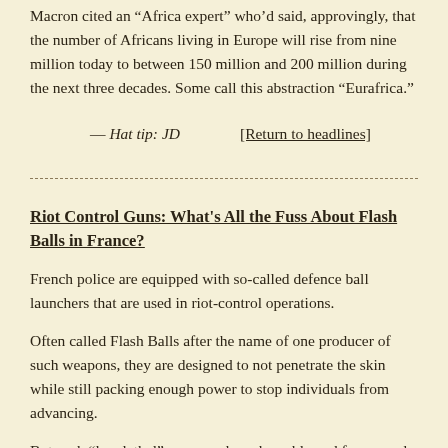Macron cited an “Africa expert” who’d said, approvingly, that the number of Africans living in Europe will rise from nine million today to between 150 million and 200 million during the next three decades. Some call this abstraction “Eurafrica.”
— Hat tip: JD     [Return to headlines]
Riot Control Guns: What's All the Fuss About Flash Balls in France?
French police are equipped with so-called defence ball launchers that are used in riot-control operations.
Often called Flash Balls after the name of one producer of such weapons, they are designed to not penetrate the skin while still packing enough power to stop individuals from advancing.
But such “less lethal” weapons have been blamed for several serious injuries in recent years, including protesters who have lost an eye after being hit by the rounds in the head.